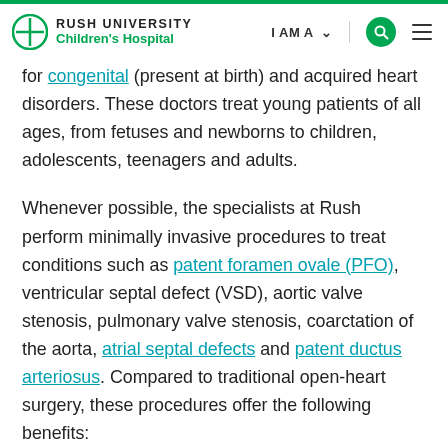RUSH UNIVERSITY Children's Hospital | I AM A | [search] [menu]
for congenital (present at birth) and acquired heart disorders. These doctors treat young patients of all ages, from fetuses and newborns to children, adolescents, teenagers and adults.
Whenever possible, the specialists at Rush perform minimally invasive procedures to treat conditions such as patent foramen ovale (PFO), ventricular septal defect (VSD), aortic valve stenosis, pulmonary valve stenosis, coarctation of the aorta, atrial septal defects and patent ductus arteriosus. Compared to traditional open-heart surgery, these procedures offer the following benefits: